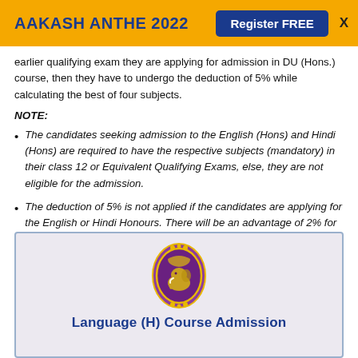AAKASH ANTHE 2022  Register FREE  X
earlier qualifying exam they are applying for admission in DU (Hons.) course, then they have to undergo the deduction of 5% while calculating the best of four subjects.
NOTE:
The candidates seeking admission to the English (Hons) and Hindi (Hons) are required to have the respective subjects (mandatory) in their class 12 or Equivalent Qualifying Exams, else, they are not eligible for the admission.
The deduction of 5% is not applied if the candidates are applying for the English or Hindi Honours. There will be an advantage of 2% for such candidates.
[Figure (logo): University seal/emblem (oval shaped purple logo with elephant and decorative elements) above text 'Language (H) Course Admission']
Language (H) Course Admission